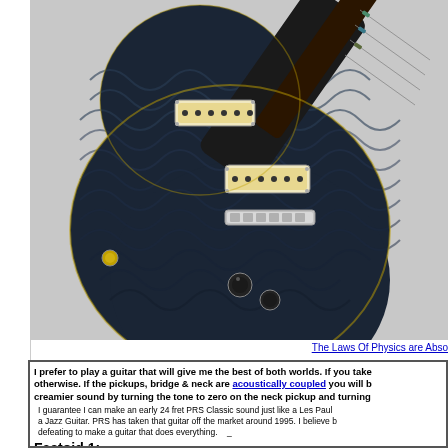[Figure (photo): Close-up photo of a dark blue/black quilted-top electric guitar (PRS style) with chrome hardware, two pickups, and decorative inlays on the fretboard]
The Laws Of Physics are Abso
I prefer to play a guitar that will give me the best of both worlds. If you take otherwise. If the pickups, bridge & neck are acoustically coupled you will b creamier sound by turning the tone to zero on the neck pickup and turning
I guarantee I can make an early 24 fret PRS Classic sound just like a Les Paul a Jazz Guitar. PRS has taken that guitar off the market around 1995. I believe b defeating to make a guitar that does everything.
Factoid 1: A typical Les Paul will always sound muddy when you play chor
Factoid 2: A Typical Les Paul is NEVER capable of sounding like a Strat o
Factoid 3: PRS broke that barrier in 1984 with the introduction of their 24 F